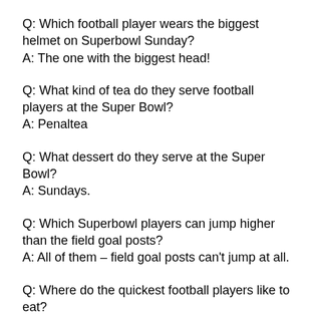Q: Which football player wears the biggest helmet on Superbowl Sunday?
A: The one with the biggest head!
Q: What kind of tea do they serve football players at the Super Bowl?
A: Penaltea
Q: What dessert do they serve at the Super Bowl?
A: Sundays.
Q: Which Superbowl players can jump higher than the field goal posts?
A: All of them – field goal posts can't jump at all.
Q: Where do the quickest football players like to eat?
A: Fast food restaurants (because they are so fast).